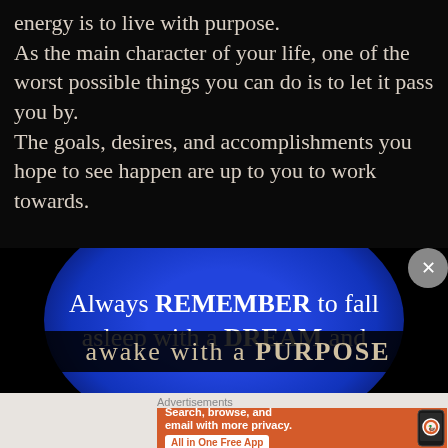energy is to live with purpose.
As the main character of your life, one of the worst possible things you can do is to let it pass you by.
The goals, desires, and accomplishments you hope to see happen are up to you to work towards.
[Figure (illustration): Blue oval/glowing background with white serif text reading 'Always REMEMBER to fall asleep with a DREAM and' with the bottom line partially cut off showing 'PURPOSE']
[Figure (screenshot): DuckDuckGo advertisement banner on orange background with text 'Search, browse, and email with more privacy. All in One Free App' and a phone graphic showing the DuckDuckGo logo]